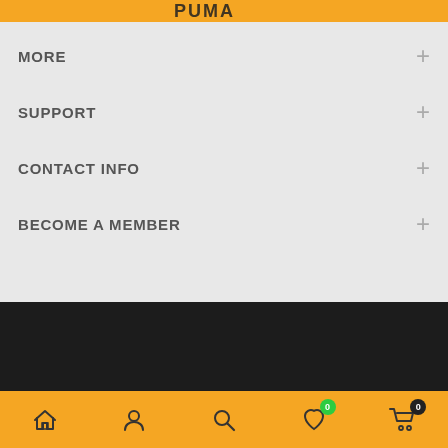PUMA (logo/brand header)
MORE +
SUPPORT +
CONTACT INFO +
BECOME A MEMBER +
Bottom navigation bar with home, account, search, wishlist (0), cart (0) icons